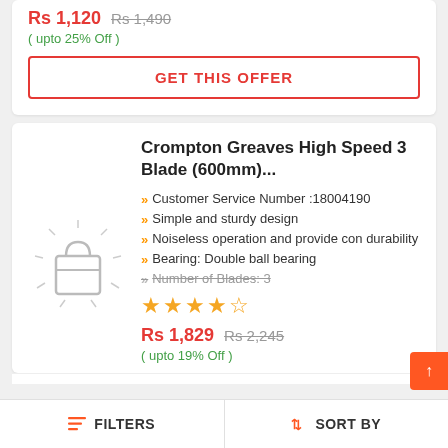Rs 1,120  Rs 1,490  ( upto 25% Off )
GET THIS OFFER
Crompton Greaves High Speed 3 Blade (600mm)...
Customer Service Number :18004190
Simple and sturdy design
Noiseless operation and provide con durability
Bearing: Double ball bearing
Number of Blades: 3
Rs 1,829  Rs 2,245  ( upto 19% Off )
FILTERS   SORT BY